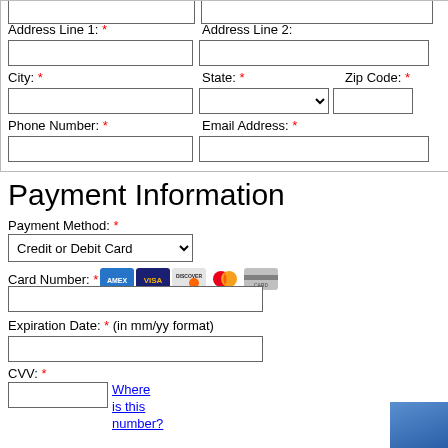Address Line 1: *
Address Line 2:
City: *
State: *
Zip Code: *
Phone Number: *
Email Address: *
Payment Information
Payment Method: *
Credit or Debit Card
Card Number: *
Expiration Date: * (in mm/yy format)
CVV: *
Where is this number?